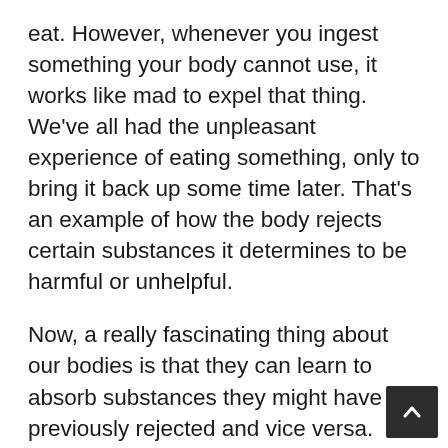eat. However, whenever you ingest something your body cannot use, it works like mad to expel that thing. We've all had the unpleasant experience of eating something, only to bring it back up some time later. That's an example of how the body rejects certain substances it determines to be harmful or unhelpful.
Now, a really fascinating thing about our bodies is that they can learn to absorb substances they might have previously rejected and vice versa.
Suppose you eat an unhealthy diet filled with junk food. Your body will be used to